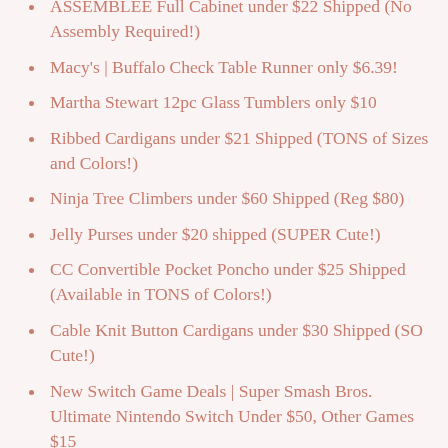ASSEMBLEE Full Cabinet under $22 Shipped (No Assembly Required!)
Macy's | Buffalo Check Table Runner only $6.39!
Martha Stewart 12pc Glass Tumblers only $10
Ribbed Cardigans under $21 Shipped (TONS of Sizes and Colors!)
Ninja Tree Climbers under $60 Shipped (Reg $80)
Jelly Purses under $20 shipped (SUPER Cute!)
CC Convertible Pocket Poncho under $25 Shipped (Available in TONS of Colors!)
Cable Knit Button Cardigans under $30 Shipped (SO Cute!)
New Switch Game Deals | Super Smash Bros. Ultimate Nintendo Switch Under $50, Other Games $15